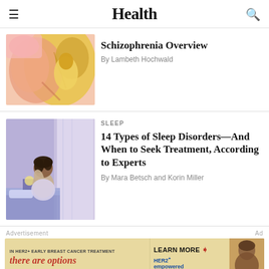Health
Schizophrenia Overview
By Lambeth Hochwald
SLEEP
14 Types of Sleep Disorders—And When to Seek Treatment, According to Experts
By Mara Betsch and Korin Miller
Advertisement
[Figure (illustration): Advertisement banner: IN HER2+ EARLY BREAST CANCER TREATMENT — there are options — LEARN MORE > HER2+ empowered — Actor portrayal]